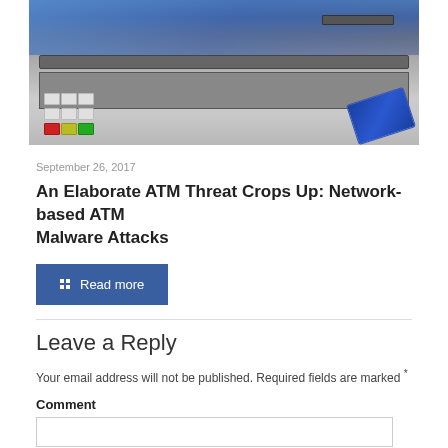[Figure (photo): ATM machine with keypad and blue credit card being inserted, with digital background]
September 26, 2017
An Elaborate ATM Threat Crops Up: Network-based ATM Malware Attacks
Read more
Leave a Reply
Your email address will not be published. Required fields are marked *
Comment